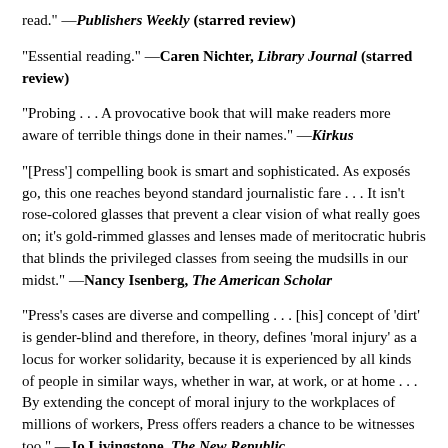read." —Publishers Weekly (starred review)
"Essential reading." —Caren Nichter, Library Journal (starred review)
"Probing . . . A provocative book that will make readers more aware of terrible things done in their names." —Kirkus
"[Press'] compelling book is smart and sophisticated. As exposés go, this one reaches beyond standard journalistic fare . . . It isn't rose-colored glasses that prevent a clear vision of what really goes on; it's gold-rimmed glasses and lenses made of meritocratic hubris that blinds the privileged classes from seeing the mudsills in our midst." —Nancy Isenberg, The American Scholar
"Press's cases are diverse and compelling . . . [his] concept of 'dirt' is gender-blind and therefore, in theory, defines 'moral injury' as a locus for worker solidarity, because it is experienced by all kinds of people in similar ways, whether in war, at work, or at home . . . By extending the concept of moral injury to the workplaces of millions of workers, Press offers readers a chance to be witnesses too." —Jo Livingstone, The New Republic